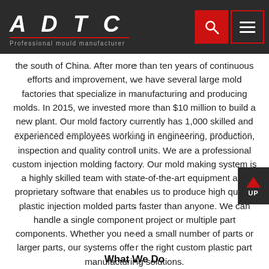ADTC — Professional mould manufacturer
the south of China. After more than ten years of continuous efforts and improvement, we have several large mold factories that specialize in manufacturing and producing molds. In 2015, we invested more than $10 million to build a new plant. Our mold factory currently has 1,000 skilled and experienced employees working in engineering, production, inspection and quality control units. We are a professional custom injection molding factory. Our mold making system is a highly skilled team with state-of-the-art equipment and proprietary software that enables us to produce high quality plastic injection molded parts faster than anyone. We can handle a single component project or multiple part components. Whether you need a small number of parts or larger parts, our systems offer the right custom plastic part manufacturing solutions.
What We Do